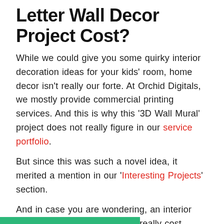Letter Wall Decor Project Cost?
While we could give you some quirky interior decoration ideas for your kids' room, home decor isn't really our forte. At Orchid Digitals, we mostly provide commercial printing services. And this is why this '3D Wall Mural' project does not really figure in our service portfolio.
But since this was such a novel idea, it merited a mention in our 'Interesting Projects' section.
And in case you are wondering, an interior design idea like this does not really cost much. The materials are all readily